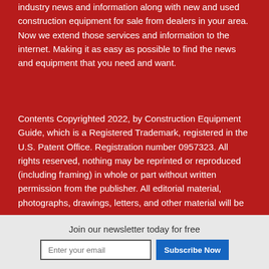industry news and information along with new and used construction equipment for sale from dealers in your area. Now we extend those services and information to the internet. Making it as easy as possible to find the news and equipment that you need and want.
Contents Copyrighted 2022, by Construction Equipment Guide, which is a Registered Trademark, registered in the U.S. Patent Office. Registration number 0957323. All rights reserved, nothing may be reprinted or reproduced (including framing) in whole or part without written permission from the publisher. All editorial material, photographs, drawings, letters, and other material will be
Join our newsletter today for free